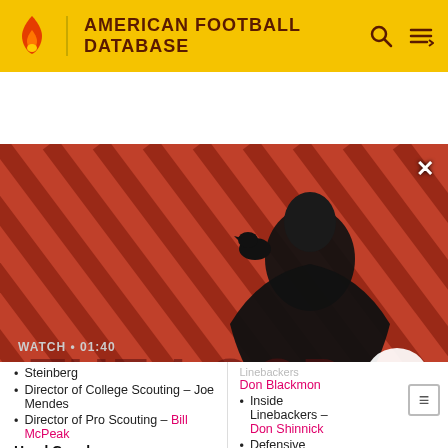AMERICAN FOOTBALL DATABASE
[Figure (screenshot): Video banner showing a dark-cloaked figure with a raven on shoulder against a red diagonal-striped background. Shows 'WATCH • 01:40' and title 'The Sandman Will Keep You Awake - The Loop' with a play button.]
Steinberg
Director of College Scouting – Joe Mendes
Director of Pro Scouting – Bill McPeak
Head Coaches
Linebackers – Don Blackmon
Inside Linebackers – Don Shinnick
Defensive Backfield – Zim...